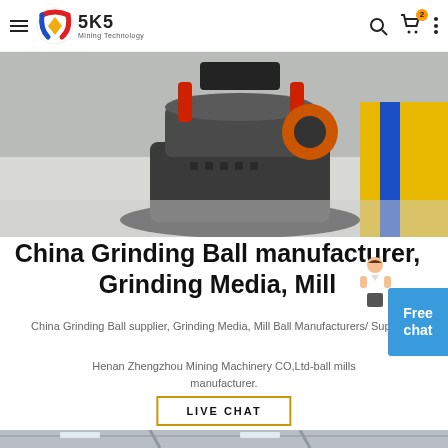SKS Mining Technology — navigation header with logo, search, cart, and menu icons
[Figure (photo): Photo of a large gray industrial cone crusher machine on a factory floor, with red and orange accents, yellow and blue barriers in background]
China Grinding Ball manufacturer, Grinding Media, Mill
China Grinding Ball supplier, Grinding Media, Mill Ball Manufacturers/ Suppliers
Henan Zhengzhou Mining Machinery CO,Ltd-ball mills manufacturer.
LIVE CHAT
[Figure (photo): Partial bottom photo showing industrial ceiling/interior of a manufacturing facility]